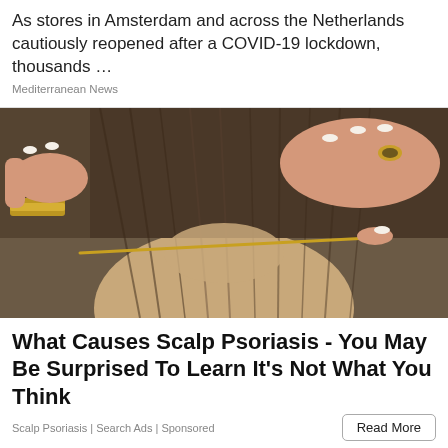As stores in Amsterdam and across the Netherlands cautiously reopened after a COVID-19 lockdown, thousands …
Mediterranean News
[Figure (photo): Close-up photo of hands examining or combing through hair on a person's scalp, with a fine-tooth comb or nit comb. One hand wears a gold bracelet and gold ring, both hands have white French-manicured nails.]
What Causes Scalp Psoriasis - You May Be Surprised To Learn It's Not What You Think
Scalp Psoriasis | Search Ads | Sponsored